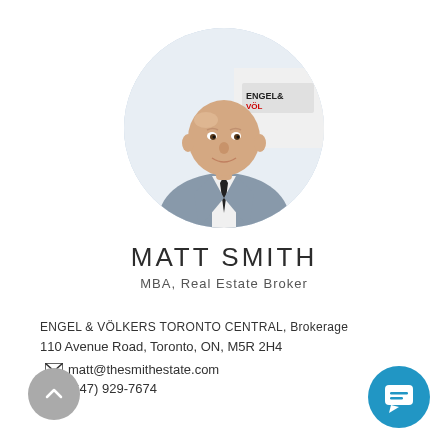[Figure (photo): Circular headshot photo of Matt Smith, a bald man in a grey suit with a dark tie, in front of an Engel & Völkers branded backdrop]
MATT SMITH
MBA, Real Estate Broker
ENGEL & VÖLKERS TORONTO CENTRAL, Brokerage
110 Avenue Road, Toronto, ON, M5R 2H4
matt@thesmithestate.com
(647) 929-7674